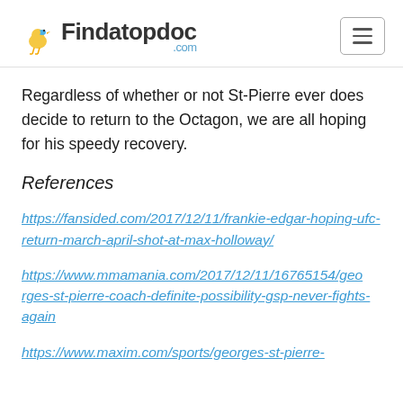Findatopdoc.com
Regardless of whether or not St-Pierre ever does decide to return to the Octagon, we are all hoping for his speedy recovery.
References
https://fansided.com/2017/12/11/frankie-edgar-hoping-ufc-return-march-april-shot-at-max-holloway/
https://www.mmamania.com/2017/12/11/16765154/georges-st-pierre-coach-definite-possibility-gsp-never-fights-again
https://www.maxim.com/sports/georges-st-pierre-